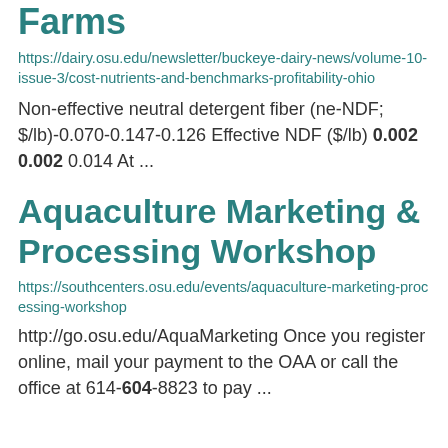Farms
https://dairy.osu.edu/newsletter/buckeye-dairy-news/volume-10-issue-3/cost-nutrients-and-benchmarks-profitability-ohio
Non-effective neutral detergent fiber (ne-NDF; $/lb)-0.070-0.147-0.126 Effective NDF ($/lb) 0.002 0.002 0.014 At ...
Aquaculture Marketing & Processing Workshop
https://southcenters.osu.edu/events/aquaculture-marketing-processing-workshop
http://go.osu.edu/AquaMarketing Once you register online, mail your payment to the OAA or call the office at 614-604-8823 to pay ...